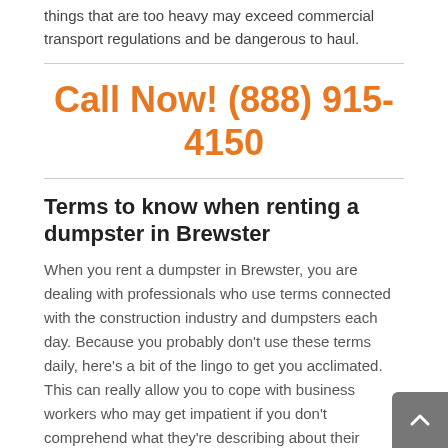things that are too heavy may exceed commercial transport regulations and be dangerous to haul.
Call Now! (888) 915-4150
Terms to know when renting a dumpster in Brewster
When you rent a dumpster in Brewster, you are dealing with professionals who use terms connected with the construction industry and dumpsters each day. Because you probably don't use these terms daily, here's a bit of the lingo to get you acclimated. This can really allow you to cope with business workers who may get impatient if you don't comprehend what they're describing about their products.
"Container" and "roll-off" are both acceptable terms for the large